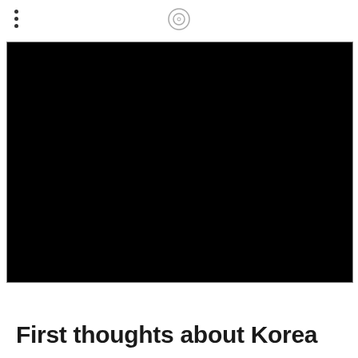⋮ ○
[Figure (photo): Black/dark image area, appears to be a video or photo that has not loaded or is very dark]
First thoughts about Korea